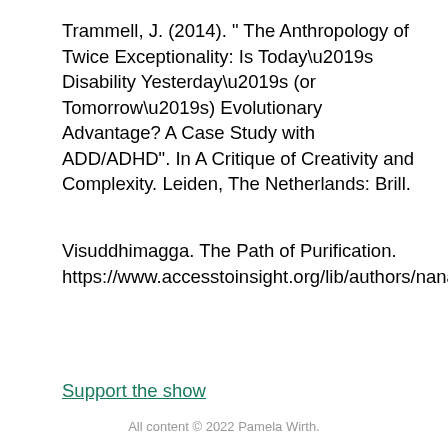Trammell, J. (2014). " The Anthropology of Twice Exceptionality: Is Today’s Disability Yesterday’s (or Tomorrow’s) Evolutionary Advantage? A Case Study with ADD/ADHD". In A Critique of Creativity and Complexity. Leiden, The Netherlands: Brill.
Visuddhimagga. The Path of Purification. https://www.accesstoinsight.org/lib/authors/nanamoli/PathofPurification2011.pdf
Support the show
All content © 2022 Pamela Wirth.